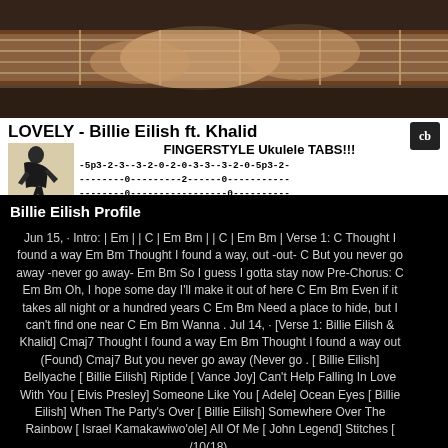[Figure (screenshot): YouTube thumbnail for 'LOVELY - Billie Eilish ft. Khalid FINGERSTYLE Ukulele TABS!!!' showing guitar hands at top, artist photo at lower left, tablature notation, and 'cb' logo.]
Billie Eilish Profile
Jun 15,  · Intro: | Em | | C | Em Bm | | C | Em Bm | Verse 1: C Thought I found a way Em Bm Thought I found a way, out -out- C But you never go away -never go away- Em Bm So I guess I gotta stay now Pre-Chorus: C Em Bm Oh, I hope some day I'll make it out of here C Em Bm Even if it takes all night or a hundred years C Em Bm Need a place to hide, but I can't find one near C Em Bm Wanna . Jul 14,  · [Verse 1: Billie Eilish & Khalid] Cmaj7 Thought I found a way Em Bm Thought I found a way out (Found) Cmaj7 But you never go away (Never go . [ Billie Eilish] Bellyache [ Billie Eilish] Riptide [ Vance Joy] Can't Help Falling In Love With You [ Elvis Presley] Someone Like You [ Adele] Ocean Eyes [ Billie Eilish] When The Party's Over [ Billie Eilish] Somewhere Over The Rainbow [ Israel Kamakawiwo'ole] All Of Me [ John Legend] Stitches [ /10(18).